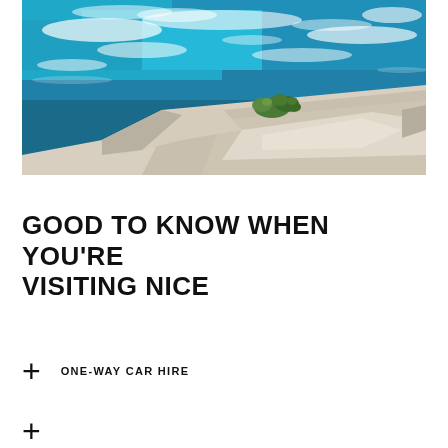[Figure (photo): Aerial or cliff-top view of turquoise Mediterranean sea water with white foam waves crashing against white limestone rocks, with small green coastal plants growing from the rock crevices.]
GOOD TO KNOW WHEN YOU'RE VISITING NICE
+ ONE-WAY CAR HIRE
+